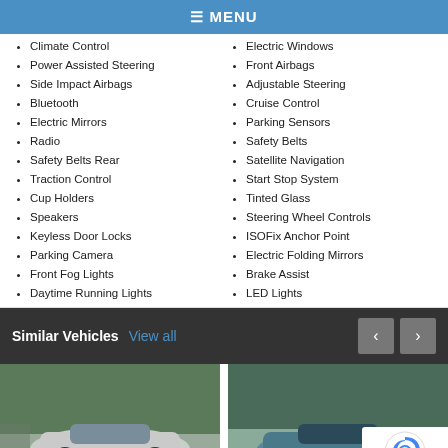MENU
Climate Control
Power Assisted Steering
Side Impact Airbags
Bluetooth
Electric Mirrors
Radio
Safety Belts Rear
Traction Control
Cup Holders
Speakers
Keyless Door Locks
Parking Camera
Front Fog Lights
Daytime Running Lights
Electric Windows
Front Airbags
Adjustable Steering
Cruise Control
Parking Sensors
Safety Belts
Satellite Navigation
Start Stop System
Tinted Glass
Steering Wheel Controls
ISOFix Anchor Point
Electric Folding Mirrors
Brake Assist
LED Lights
Similar Vehicles  View all
[Figure (photo): Silver car parked outside, left vehicle photo]
[Figure (photo): Blue/teal car parked outside, right vehicle photo]